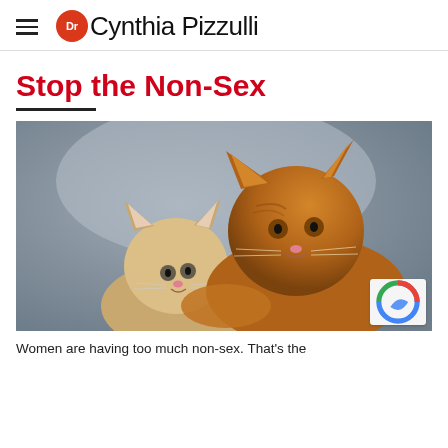Dr Cynthia Pizzulli
Stop the Non-Sex
[Figure (photo): Two kittens nuzzling/kissing each other — one pale cream kitten facing up, one orange tabby kitten leaning over it — against a blurred grey background.]
Women are having too much non-sex. That's the